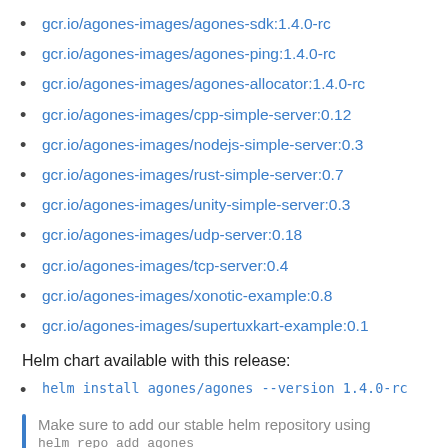gcr.io/agones-images/agones-sdk:1.4.0-rc
gcr.io/agones-images/agones-ping:1.4.0-rc
gcr.io/agones-images/agones-allocator:1.4.0-rc
gcr.io/agones-images/cpp-simple-server:0.12
gcr.io/agones-images/nodejs-simple-server:0.3
gcr.io/agones-images/rust-simple-server:0.7
gcr.io/agones-images/unity-simple-server:0.3
gcr.io/agones-images/udp-server:0.18
gcr.io/agones-images/tcp-server:0.4
gcr.io/agones-images/xonotic-example:0.8
gcr.io/agones-images/supertuxkart-example:0.1
Helm chart available with this release:
helm install agones/agones --version 1.4.0-rc
Make sure to add our stable helm repository using
helm repo add agones